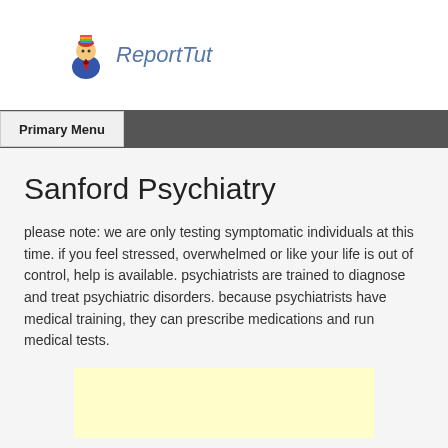[Figure (logo): ReportTut logo with cartoon character figure and italic blue text 'ReportTut']
Primary Menu
Sanford Psychiatry
please note: we are only testing symptomatic individuals at this time. if you feel stressed, overwhelmed or like your life is out of control, help is available. psychiatrists are trained to diagnose and treat psychiatric disorders. because psychiatrists have medical training, they can prescribe medications and run medical tests.
[Figure (other): Light yellow advertisement or content box at the bottom of the page]